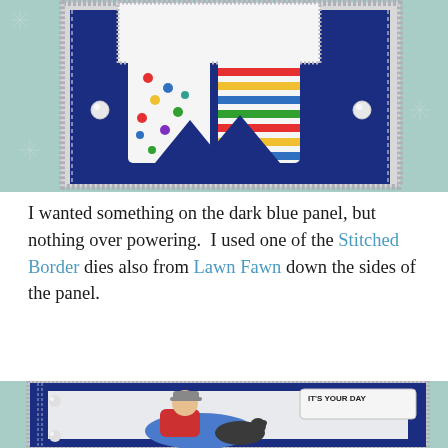[Figure (photo): A handmade greeting card with a dark navy blue panel featuring Christmas stockings with colorful polka dot and striped patterns, white decorative border, pearl embellishments, on a teal snowflake patterned background. Watermark reads 'Nancee Purdum https://nanceecrafttime.wordpress.com']
I wanted something on the dark blue panel, but nothing over powering.  I used one of the Stitched Border dies also from Lawn Fawn down the sides of the panel.
[Figure (photo): A handmade greeting card showing a person in a red shirt and hat relaxing with a dog, with text 'IT'S YOUR DAY' on a banner, navy blue stitched border frame, on a teal snowflake patterned background.]